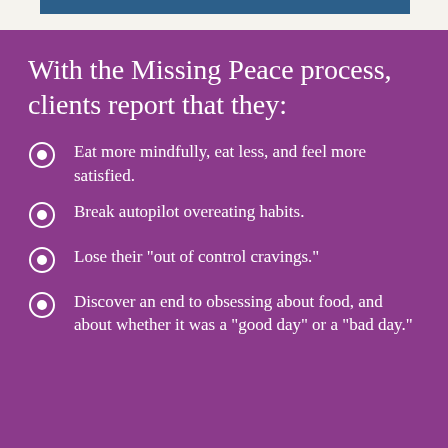With the Missing Peace process, clients report that they:
Eat more mindfully, eat less, and feel more satisfied.
Break autopilot overeating habits.
Lose their "out of control cravings."
Discover an end to obsessing about food, and about whether it was a "good day" or a "bad day."